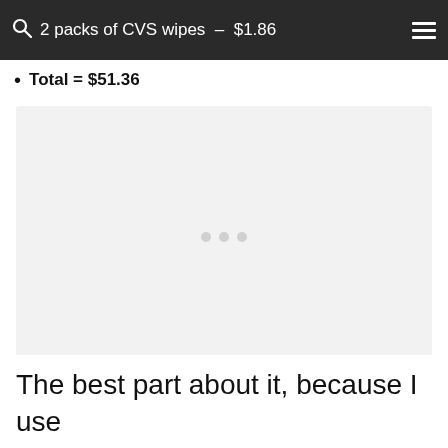2 packs of CVS wipes – $1.86
Total = $51.36
[Figure (photo): Large image placeholder with light gray background and three small gray dots in the center, indicating a loading or embedded media area]
The best part about it, because I use